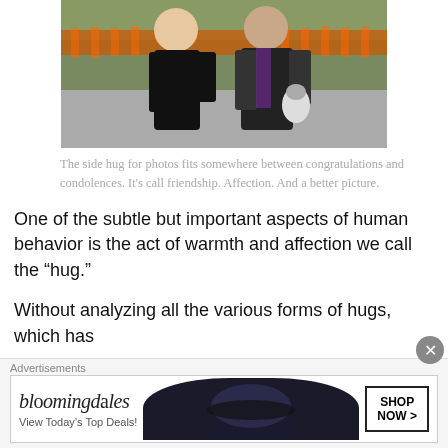[Figure (photo): Two people standing side by side outdoors, one in black fitted top and one in black and purple athletic jacket holding a water bottle, with orange safety fencing in the background]
The side hug for photos fits somewhere between congratulations and condolences. It's call friendship. Affection. And a better picture.
One of the subtle but important aspects of human behavior is the act of warmth and affection we call the “hug.”
Without analyzing all the various forms of hugs, which has
[Figure (screenshot): Bloomingdale's advertisement banner reading 'View Today's Top Deals!' with SHOP NOW > button]